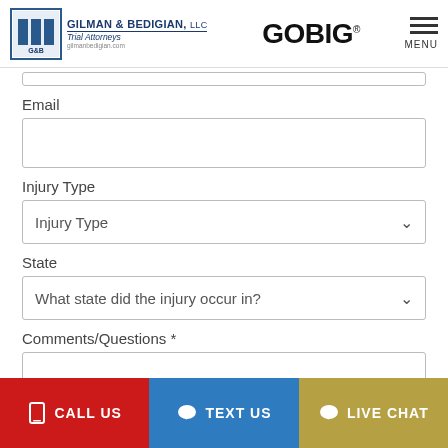[Figure (logo): Gilman & Bedigian LLC Trial Attorneys logo with GoBig branding and hamburger menu]
Email
Injury Type
Injury Type (dropdown)
State
What state did the injury occur in? (dropdown)
Comments/Questions *
CALL US
TEXT US
LIVE CHAT